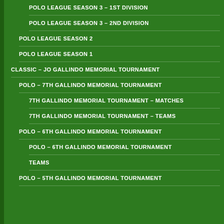POLO LEAGUE SEASON 3 – 1ST DIVISION
POLO LEAGUE SEASON 3 – 2ND DIVISION
POLO LEAGUE SEASON 2
POLO LEAGUE SEASON 1
CLASSIC – JO GALLINDO MEMORIAL TOURNAMENT
POLO – 7TH GALLINDO MEMORIAL TOURNAMENT
7TH GALLINDO MEMORIAL TOURNAMENT – MATCHES
7TH GALLINDO MEMORIAL TOURNAMENT – TEAMS
POLO – 6TH GALLINDO MEMORIAL TOURNAMENT
POLO – 6TH GALLINDO MEMORIAL TOURNAMENT
TEAMS
POLO – 5TH GALLINDO MEMORIAL TOURNAMENT